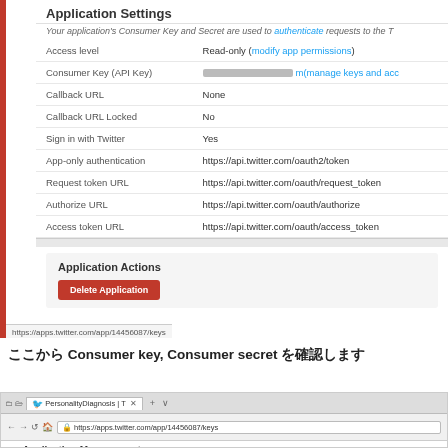[Figure (screenshot): Twitter Application Settings page showing Consumer Key, Access level, Callback URL, Sign in with Twitter, App-only authentication, Request token URL, Authorize URL, Access token URL, and Application Actions with a Delete Application button]
ここから Consumer key, Consumer secret を確認します
[Figure (screenshot): Browser showing apps.twitter.com/app/14456087/keys with Application Management heading visible]